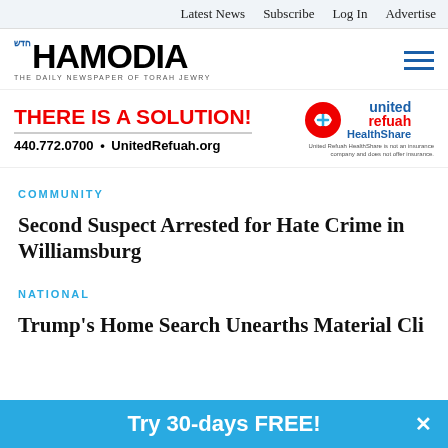Latest News  Subscribe  Log In  Advertise
HAMODIA — THE DAILY NEWSPAPER OF TORAH JEWRY
[Figure (infographic): United Refuah HealthShare advertisement: THERE IS A SOLUTION! 440.772.0700 • UnitedRefuah.org with United Refuah HealthShare logo]
COMMUNITY
Second Suspect Arrested for Hate Crime in Williamsburg
NATIONAL
Trump's Home Search Unearths Material Cli...
Try 30-days FREE!